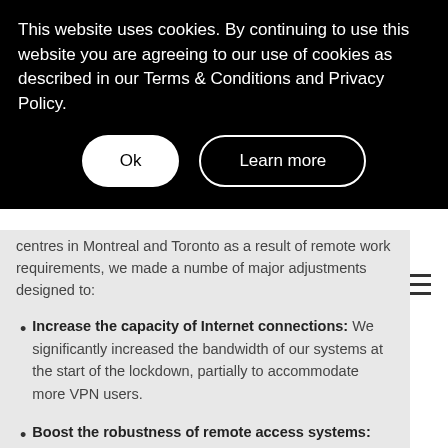This website uses cookies. By continuing to use this website you are agreeing to our use of cookies as described in our Terms & Conditions and Privacy Policy.
Ok | Learn more
centres in Montreal and Toronto as a result of remote work requirements, we made a number of major adjustments designed to:
Increase the capacity of Internet connections: We significantly increased the bandwidth of our systems at the start of the lockdown, partially to accommodate more VPN users.
Boost the robustness of remote access systems: The VPN enables employees to access Ivanhoé Cambridge's data and information more quickly from outside our